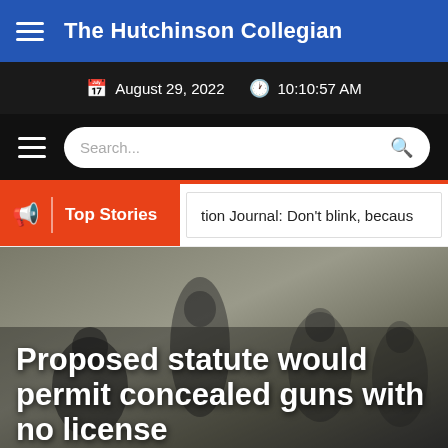The Hutchinson Collegian
August 29, 2022  10:10:57 AM
Search...
Top Stories
tion Journal: Don't blink, becaus
Proposed statute would permit concealed guns with no license